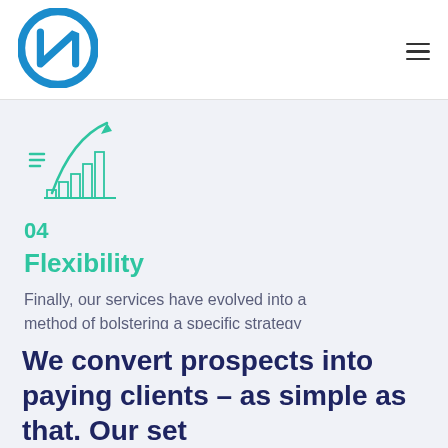[Figure (logo): Blue circular NQ logo mark]
[Figure (illustration): Green bar chart with upward arrow and lines icon representing growth/flexibility]
04
Flexibility
Finally, our services have evolved into a method of bolstering a specific strategy tactic.
We convert prospects into paying clients – as simple as that. Our set